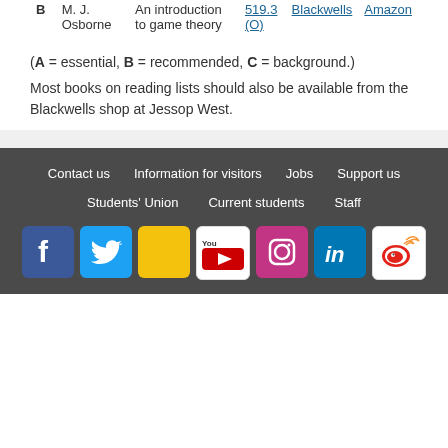|  | Author | Title | Library | Blackwells | Amazon |
| --- | --- | --- | --- | --- | --- |
| B | M. J. Osborne | An introduction to game theory | 519.3 (O) | Blackwells | Amazon |
(A = essential, B = recommended, C = background.)
Most books on reading lists should also be available from the Blackwells shop at Jessop West.
Contact us | Information for visitors | Jobs | Support us | Students' Union | Current students | Staff